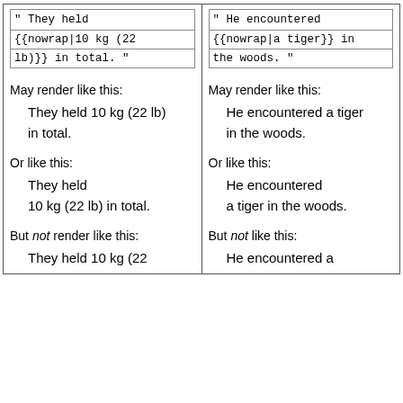| Column 1 | Column 2 |
| --- | --- |
| " They held
{{nowrap|10 kg (22
lb)}} in total. " | " He encountered
{{nowrap|a tiger}} in
the woods. " |
| May render like this:
    They held 10 kg (22 lb)
    in total.
Or like this:
    They held
    10 kg (22 lb) in total.
But not render like this:
    They held 10 kg (22 | May render like this:
    He encountered a tiger
    in the woods.
Or like this:
    He encountered
    a tiger in the woods.
But not like this:
    He encountered a |